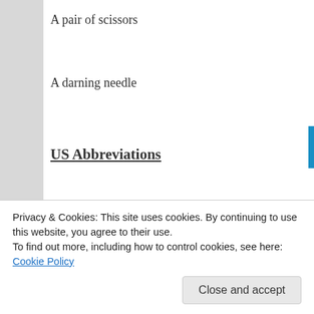A pair of scissors
A darning needle
US Abbreviations
[Figure (photo): Advertisement image showing a figure with text 'Over 150,000']
st – stitch
Privacy & Cookies: This site uses cookies. By continuing to use this website, you agree to their use.
To find out more, including how to control cookies, see here: Cookie Policy
Close and accept